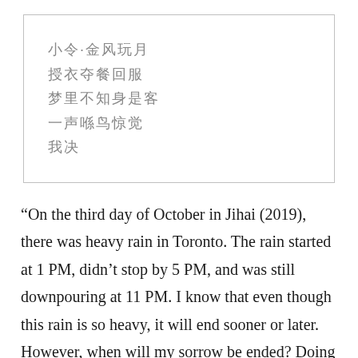[Figure (other): A bordered box containing lines of Chinese/CJK characters rendered in gray, appearing as placeholder or redacted text blocks]
“On the third day of October in Jihai (2019), there was heavy rain in Toronto. The rain started at 1 PM, didn’t stop by 5 PM, and was still downpouring at 11 PM. I know that even though this rain is so heavy, it will end sooner or later. However, when will my sorrow be ended? Doing not as expected in summer, and today I don’t know how bad I will get in midterms. Life is just like a dream, but will the unhappiness fade away eventually? To relieve my melancholy, I wrote this poem with the hope that I would